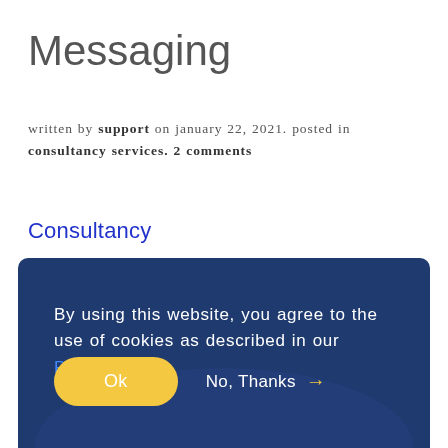Messaging
written by support on january 22, 2021. posted in consultancy services. 2 comments
Consultancy
[Figure (screenshot): Cookie consent banner with dark blue background. Text reads: 'By using this website, you agree to the use of cookies as described in our Privacy Policy.' Two options: yellow 'Ok' button and 'No, Thanks' with arrow.]